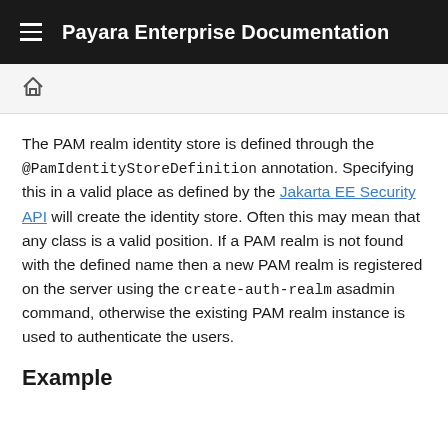Payara Enterprise Documentation
The PAM realm identity store is defined through the @PamIdentityStoreDefinition annotation. Specifying this in a valid place as defined by the Jakarta EE Security API will create the identity store. Often this may mean that any class is a valid position. If a PAM realm is not found with the defined name then a new PAM realm is registered on the server using the create-auth-realm asadmin command, otherwise the existing PAM realm instance is used to authenticate the users.
Example